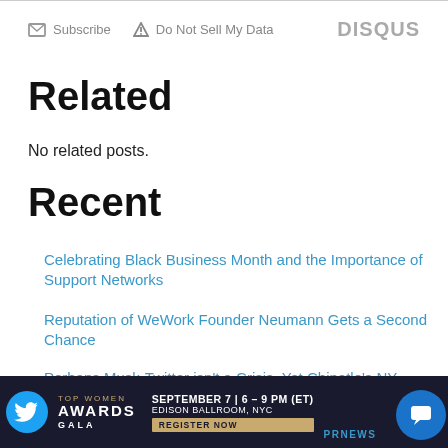Subscribe  Do Not Sell My Data  DISQUS
Related
No related posts.
Recent
Celebrating Black Business Month and the Importance of Support Networks
Reputation of WeWork Founder Neumann Gets a Second Chance
Perhaps Musk-Twitter isn't a Crisis, Yet Chipotle's NY Settlement Could Spark One
[Figure (infographic): Advertisement banner: Top Women Awards Gala, September 7 | 6-9 PM (ET), Edison Ballroom, NYC, Register Now. PRNews logo. Twitter bird icon on left.]